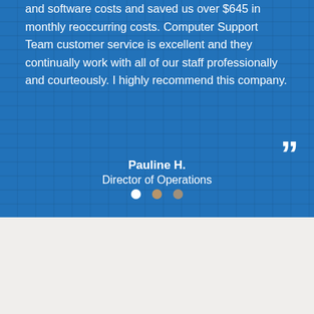and software costs and saved us over $645 in monthly reoccurring costs. Computer Support Team customer service is excellent and they continually work with all of our staff professionally and courteously. I highly recommend this company.
Pauline H.
Director of Operations
[Figure (other): Three navigation dots: one white (active), two tan/brown (inactive)]
Keep Your Monthly IT Costs Predictable